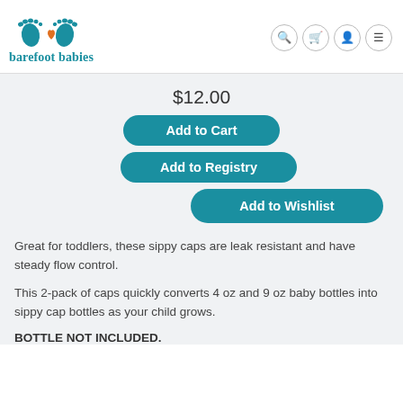barefoot babies
$12.00
Add to Cart
Add to Registry
Add to Wishlist
Great for toddlers, these sippy caps are leak resistant and have steady flow control.
This 2-pack of caps quickly converts 4 oz and 9 oz baby bottles into sippy cap bottles as your child grows.
BOTTLE NOT INCLUDED.